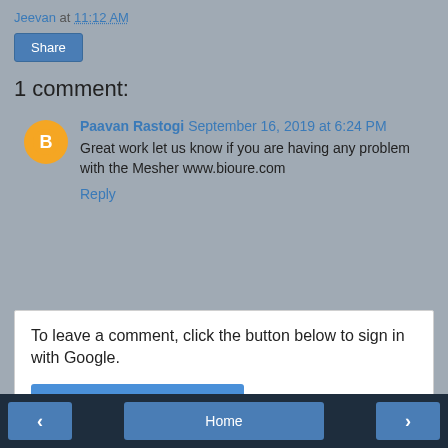Jeevan at 11:12 AM
Share
1 comment:
Paavan Rastogi September 16, 2019 at 6:24 PM
Great work let us know if you are having any problem with the Mesher www.bioure.com
Reply
To leave a comment, click the button below to sign in with Google.
SIGN IN WITH GOOGLE
‹  Home  ›